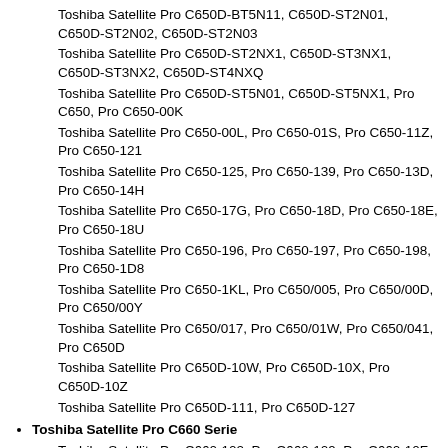Toshiba Satellite Pro C650D-BT5N11, C650D-ST2N01, C650D-ST2N02, C650D-ST2N03
Toshiba Satellite Pro C650D-ST2NX1, C650D-ST3NX1, C650D-ST3NX2, C650D-ST4NXQ
Toshiba Satellite Pro C650D-ST5N01, C650D-ST5NX1, Pro C650, Pro C650-00K
Toshiba Satellite Pro C650-00L, Pro C650-01S, Pro C650-11Z, Pro C650-121
Toshiba Satellite Pro C650-125, Pro C650-139, Pro C650-13D, Pro C650-14H
Toshiba Satellite Pro C650-17G, Pro C650-18D, Pro C650-18E, Pro C650-18U
Toshiba Satellite Pro C650-196, Pro C650-197, Pro C650-198, Pro C650-1D8
Toshiba Satellite Pro C650-1KL, Pro C650/005, Pro C650/00D, Pro C650/00Y
Toshiba Satellite Pro C650/017, Pro C650/01W, Pro C650/041, Pro C650D
Toshiba Satellite Pro C650D-10W, Pro C650D-10X, Pro C650D-10Z
Toshiba Satellite Pro C650D-111, Pro C650D-127
Toshiba Satellite Pro C660 Serie
Toshiba Satellite Pro C660-102, Pro C660-109, Pro C660-10F, Pro C660-10J, Pro C660-111
Toshiba Satellite Pro C660-12F, Pro C660-167, Pro C660-16M, Pro C660-16N, Pro C660-16R
Toshiba Satellite Pro C660-16T, Pro C660-16V, Pro C660-16W, Pro C660-16X, Pro C660-171
Toshiba Satellite Pro C660-1JL, Pro C660-1KB, Pro C660-...